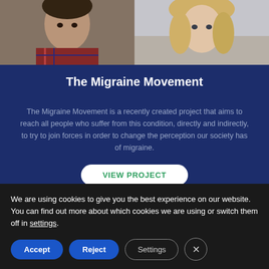[Figure (photo): Two portrait photos side by side: left shows a young man with dark hair in a red plaid shirt, right shows a young blonde woman, both in urban outdoor settings]
The Migraine Movement
The Migraine Movement is a recently created project that aims to reach all people who suffer from this condition, directly and indirectly, to try to join forces in order to change the perception our society has of migraine.
[Figure (logo): EMHA European Migraine & Headache Alliance logo with large bold italic letters EMHA in white on blue background]
We are using cookies to give you the best experience on our website.
You can find out more about which cookies we are using or switch them off in settings.